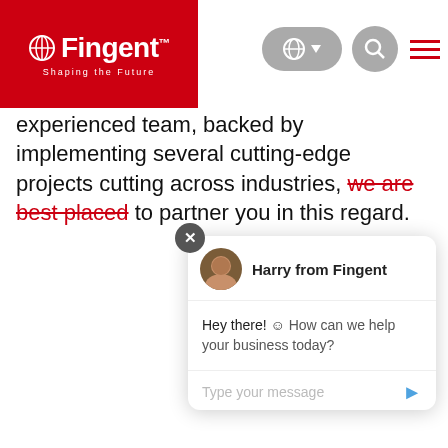[Figure (screenshot): Fingent website header with red logo on left, globe/language pill, search icon, and hamburger menu on right]
experienced team, backed by implementing several cutting-edge projects cutting across industries, we are best placed to partner you in this regard.
[Figure (screenshot): Chat widget popup from Harry from Fingent with avatar, message 'Hey there! How can we help your business today?' and message input field]
[Figure (photo): Circular profile photo of Ashmitha Chatterjee, woman with glasses and teal top]
“Ashmitha works with Fingent as a creative writer. She collaborates with the Digital Marketing team to deliver engaging, informative, and SEO friendly business collaterals. Being passionate about writing, Ashmitha frequently engages in blogging and